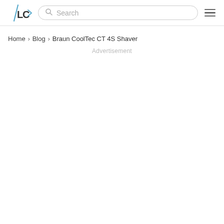/LC logo, Search bar, Hamburger menu
Home > Blog > Braun CoolTec CT 4S Shaver
Advertisement